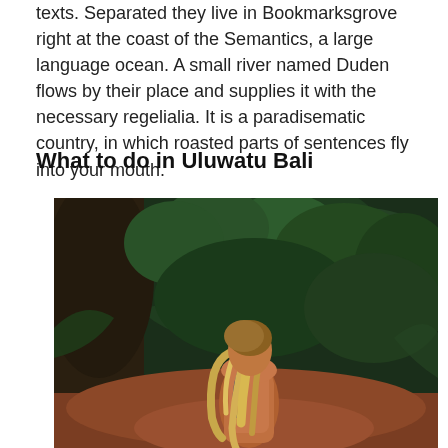texts. Separated they live in Bookmarksgrove right at the coast of the Semantics, a large language ocean. A small river named Duden flows by their place and supplies it with the necessary regelialia. It is a paradisematic country, in which roasted parts of sentences fly into your mouth.
What to do in Uluwatu Bali
[Figure (photo): A woman with long blonde hair viewed from behind, standing among lush dark green tropical foliage and reddish-brown rocky terrain, wearing a backpack strap visible.]